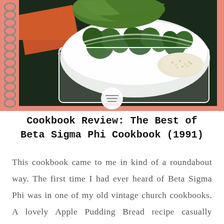[Figure (photo): Photo of a bowl of broccoli and vegetables on a coral/salmon pink background with a spiral-bound cookbook edge visible on the left side. A small menu icon circle is overlaid at the bottom center of the photo.]
Cookbook Review: The Best of Beta Sigma Phi Cookbook (1991)
This cookbook came to me in kind of a roundabout way. The first time I had ever heard of Beta Sigma Phi was in one of my old vintage church cookbooks. A lovely Apple Pudding Bread recipe casually bragged that it was selected for the Beta Sigma Phi